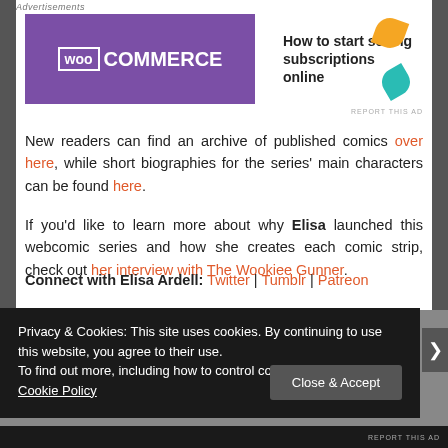Advertisements
[Figure (screenshot): WooCommerce advertisement banner: purple background with WooCommerce logo on left, text 'How to start selling subscriptions online' on right with decorative leaf shapes]
New readers can find an archive of published comics over here, while short biographies for the series' main characters can be found here.
If you'd like to learn more about why Elisa launched this webcomic series and how she creates each comic strip, check out her interview with The Wookiee Gunner.
Connect with Elisa Ardell: Twitter | Tumblr | Patreon
Privacy & Cookies: This site uses cookies. By continuing to use this website, you agree to their use.
To find out more, including how to control cookies, see here: Our Cookie Policy